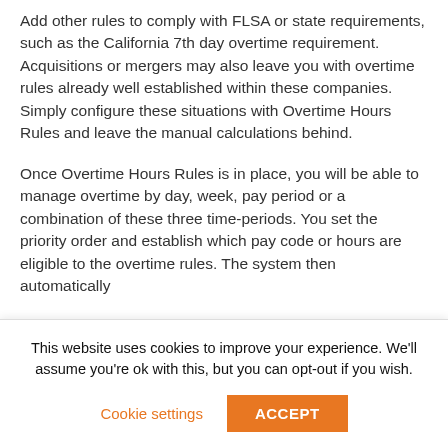Add other rules to comply with FLSA or state requirements, such as the California 7th day overtime requirement. Acquisitions or mergers may also leave you with overtime rules already well established within these companies. Simply configure these situations with Overtime Hours Rules and leave the manual calculations behind.
Once Overtime Hours Rules is in place, you will be able to manage overtime by day, week, pay period or a combination of these three time-periods. You set the priority order and establish which pay code or hours are eligible to the overtime rules. The system then automatically
This website uses cookies to improve your experience. We'll assume you're ok with this, but you can opt-out if you wish.
Cookie settings | ACCEPT